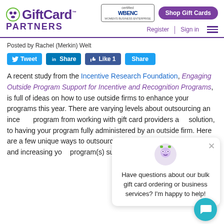GiftCard PARTNERS | certified WBENC | Shop Gift Cards | Register | Sign in
Posted by Rachel (Merkin) Welt
Tweet | Share | Like 1 | Share
A recent study from the Incentive Research Foundation, Engaging Outside Program Support for Incentive and Recognition Programs, is full of ideas on how to use outside firms to enhance your programs this year. There are varying levels about outsourcing an incentive program from working with gift card providers and technology as part of their overall solution, to having your program fully administered by an outside firm. Here are a few unique ways to outsource efforts, while keeping costs low and increasing your program(s) success rates:
[Figure (other): Chat popup with avatar asking 'Have questions about our bulk gift card ordering or business services? I'm happy to help!' and a teal chat button in the bottom right corner.]